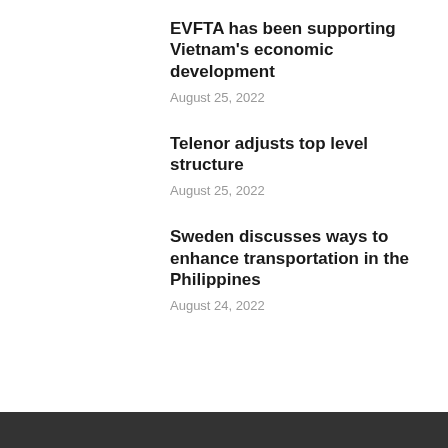EVFTA has been supporting Vietnam’s economic development
August 25, 2022
Telenor adjusts top level structure
August 25, 2022
Sweden discusses ways to enhance transportation in the Philippines
August 24, 2022